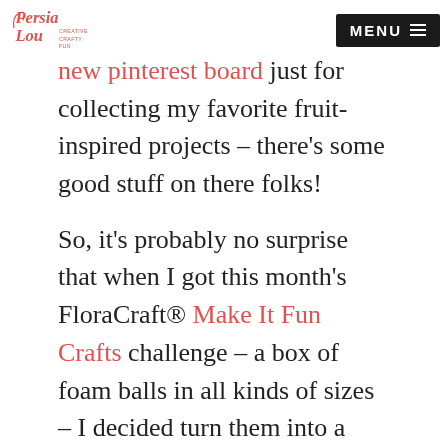Persia Lou — CREATIVE CRAFTY FUN | MENU
new pinterest board just for collecting my favorite fruit-inspired projects – there's some good stuff on there folks!
So, it's probably no surprise that when I got this month's FloraCraft® Make It Fun Crafts challenge – a box of foam balls in all kinds of sizes – I decided turn them into a cute fruit garland. And I'm so happy with the way it turned out!